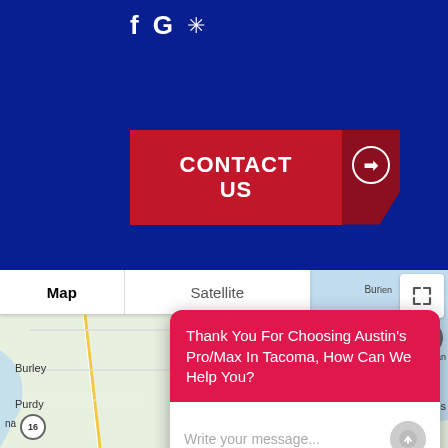[Figure (screenshot): Social media icons: Facebook, Google, and Yelp on dark blue background]
[Figure (screenshot): Red 'CONTACT US' button with arrow icon on dark blue background]
[Figure (map): Google Maps showing Vashon area near Tacoma, WA with Map/Satellite toggle tabs]
Thank You For Choosing Austin's Pro/Max In Tacoma, How Can We Help You?
Write your message...